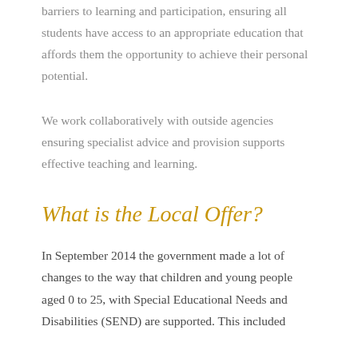barriers to learning and participation, ensuring all students have access to an appropriate education that affords them the opportunity to achieve their personal potential.
We work collaboratively with outside agencies ensuring specialist advice and provision supports effective teaching and learning.
What is the Local Offer?
In September 2014 the government made a lot of changes to the way that children and young people aged 0 to 25, with Special Educational Needs and Disabilities (SEND) are supported. This included